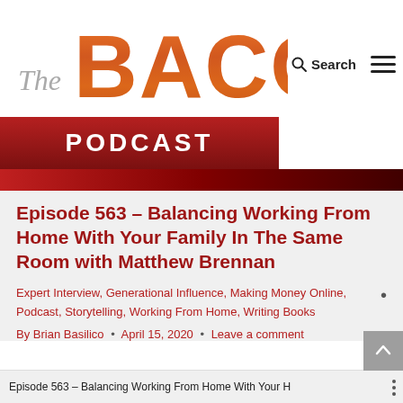[Figure (logo): The Bacon Podcast logo with bacon-textured letters spelling BACON, word 'The' in gray, and 'PODCAST' banner in dark red]
Search
Episode 563 – Balancing Working From Home With Your Family In The Same Room with Matthew Brennan
Expert Interview, Generational Influence, Making Money Online, Podcast, Storytelling, Working From Home, Writing Books
By Brian Basilico • April 15, 2020 • Leave a comment
Episode 563 – Balancing Working From Home With Your H